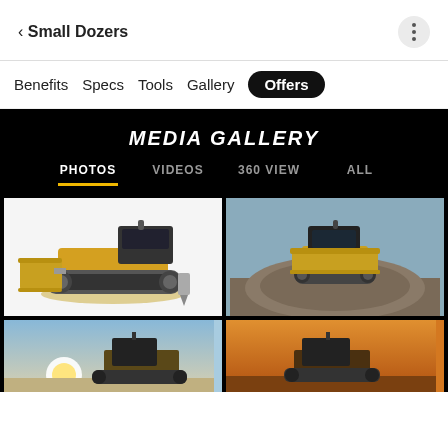< Small Dozers
Benefits  Specs  Tools  Gallery  Offers
MEDIA GALLERY
PHOTOS  VIDEOS  360 VIEW  ALL
[Figure (photo): Yellow CAT small dozer studio shot on white background, side/front view]
[Figure (photo): Yellow CAT small dozer on a dirt mound at a construction site, front view, blue sky]
[Figure (photo): Yellow CAT small dozer in field, blue sky with sun, low angle]
[Figure (photo): Yellow CAT small dozer at sunset, orange sky, side view]